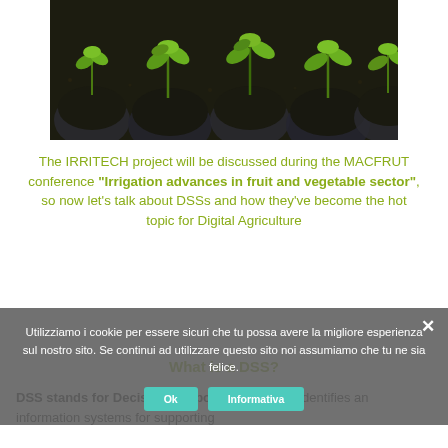[Figure (photo): Overhead view of small green seedlings growing in dark soil inside round plastic nursery pots]
The IRRITECH project will be discussed during the MACFRUT conference "Irrigation advances in fruit and vegetable sector", so now let's talk about DSSs and how they've become the hot topic for Digital Agriculture
Utilizziamo i cookie per essere sicuri che tu possa avere la migliore esperienza sul nostro sito. Se continui ad utilizzare questo sito noi assumiamo che tu ne sia felice.
What is a DSS?
DSS stands for Decision Support System and identifies an information systems for supporting